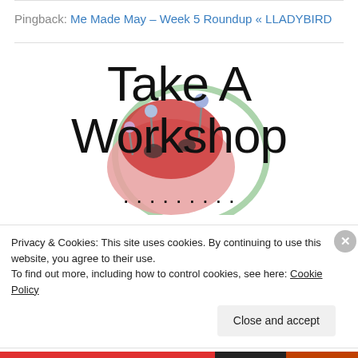Pingback: Me Made May – Week 5 Roundup « LLADYBIRD
[Figure (illustration): Take A Workshop banner with a decorative sewing pincushion ladybird graphic. Large text reads 'Take A Workshop' with smaller text below partially visible.]
Privacy & Cookies: This site uses cookies. By continuing to use this website, you agree to their use.
To find out more, including how to control cookies, see here: Cookie Policy
Close and accept